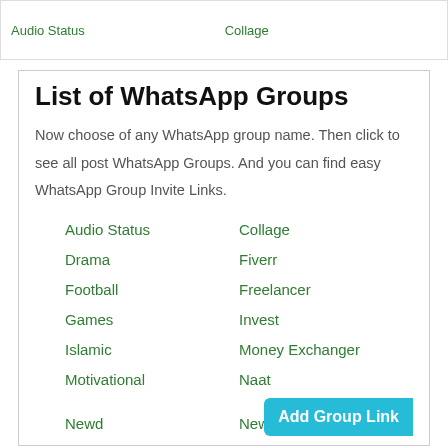Audio Status   Collage
List of WhatsApp Groups
Now choose of any WhatsApp group name. Then click to see all post WhatsApp Groups. And you can find easy WhatsApp Group Invite Links.
Audio Status
Collage
Drama
Fiverr
Football
Freelancer
Games
Invest
Islamic
Money Exchanger
Motivational
Naat
Newd
News Paper
Add Group Link